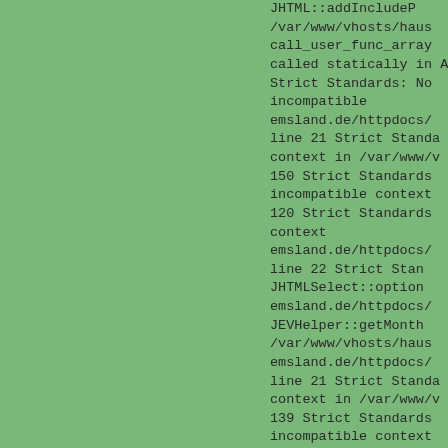JHTML::addIncludeP /var/www/vhosts/haus call_user_func_array called statically in A Strict Standards: No incompatible emsland.de/httpdocs/ line 21 Strict Standa context in /var/www/v 150 Strict Standards incompatible context 120 Strict Standards context emsland.de/httpdocs/ line 22 Strict Stan JHTMLSelect::option emsland.de/httpdocs/ JEVHelper::getMonth /var/www/vhosts/haus emsland.de/httpdocs/ line 21 Strict Standa context in /var/www/v 139 Strict Standards incompatible context 120 Strict Standards context emsland.de/httpdocs/ line 22 Strict Stan JHTMLSelect::option emsland.de/httpdocs/ JEVHelper::getMonth /var/www/vhosts/haus emsland.de/httpdocs/